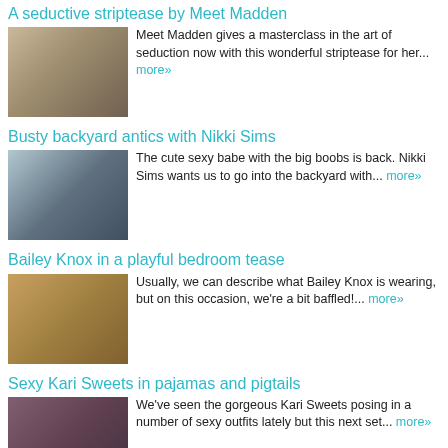A seductive striptease by Meet Madden
Meet Madden gives a masterclass in the art of seduction now with this wonderful striptease for her... more»
Busty backyard antics with Nikki Sims
The cute sexy babe with the big boobs is back. Nikki Sims wants us to go into the backyard with... more»
Bailey Knox in a playful bedroom tease
Usually, we can describe what Bailey Knox is wearing, but on this occasion, we're a bit baffled!... more»
Sexy Kari Sweets in pajamas and pigtails
We've seen the gorgeous Kari Sweets posing in a number of sexy outfits lately but this next set... more»
Brooke Marks in skimpy blue panties
Is that an F14 Tomcat or an F15 Strike Eagle in the picture on the wall?...Actually, who cares!!... more»